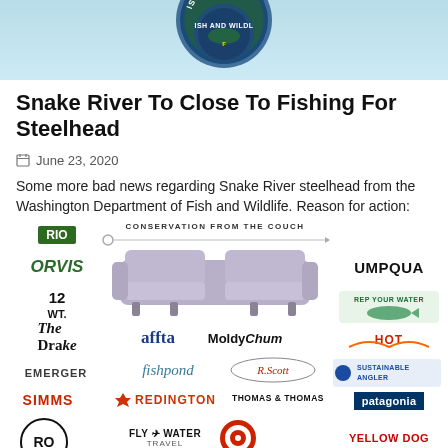[Figure (photo): Hero image with Fish and Wildlife badge/logo on teal/light blue background]
Snake River To Close To Fishing For Steelhead
June 23, 2020
Some more bad news regarding Snake River steelhead from the Washington Department of Fish and Wildlife. Reason for action: The 2020 Columbia River forecasted return …
[Figure (logo): Sponsor logos collage including RIO, ORVIS, 12 WT., The Drake, EMERGER, SIMMS, REDINGTON, FLY WATER TRAVEL, RO, CONSERVATION FROM THE COUCH with couch illustration, affta, MoldyChum, fishpond, R.Scott, THOMAS & THOMAS, UMPQUA, REP YOUR WATER, Hot Chillys, Sustainable Angler, patagonia, Yellow Dog]